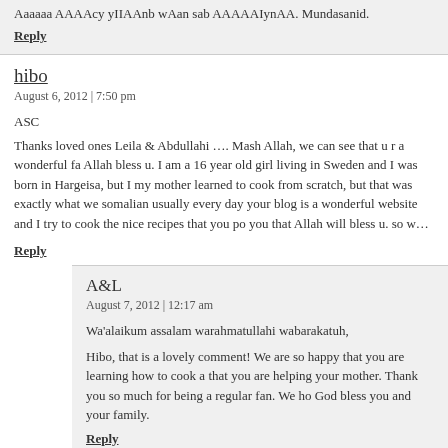Aaaaaa Aaaacy yIIAaAnb wAan sab AAAAAAIynAA. Mundasanid.
Reply
hibo
August 6, 2012 | 7:50 pm
ASC
Thanks loved ones Leila & Abdullahi …. Mash Allah, we can see that u r a wonderful fa Allah bless u. I am a 16 year old girl living in Sweden and I was born in Hargeisa, but I my mother learned to cook from scratch, but that was exactly what we somalian usually every day your blog is a wonderful website and I try to cook the nice recipes that you po you that Allah will bless u. so we are grateful for what you created we..llllll done.
Reply
A&L
August 7, 2012 | 12:17 am
Wa'alaikum assalam warahmatullahi wabarakatuh,
Hibo, that is a lovely comment! We are so happy that you are learning how to cook a that you are helping your mother. Thank you so much for being a regular fan. We ho God bless you and your family.
Reply